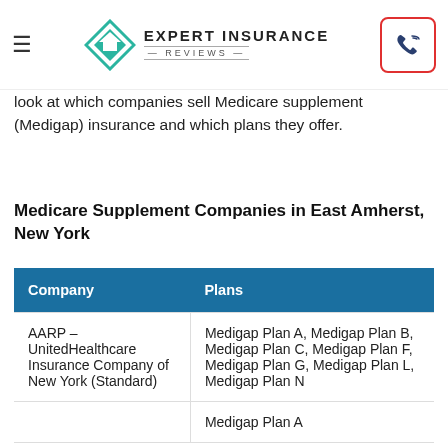Expert Insurance Reviews
look at which companies sell Medicare supplement (Medigap) insurance and which plans they offer.
Medicare Supplement Companies in East Amherst, New York
| Company | Plans |
| --- | --- |
| AARP – UnitedHealthcare Insurance Company of New York (Standard) | Medigap Plan A, Medigap Plan B, Medigap Plan C, Medigap Plan F, Medigap Plan G, Medigap Plan L, Medigap Plan N |
|  | Medigap Plan A |